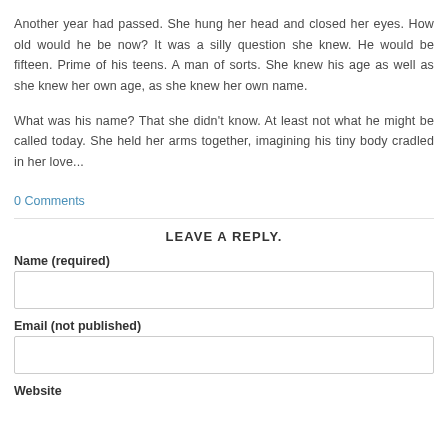Another year had passed. She hung her head and closed her eyes. How old would he be now? It was a silly question she knew. He would be fifteen. Prime of his teens. A man of sorts. She knew his age as well as she knew her own age, as she knew her own name.

What was his name? That she didn't know. At least not what he might be called today. She held her arms together, imagining his tiny body cradled in her love...
0 Comments
LEAVE A REPLY.
Name (required)
Email (not published)
Website